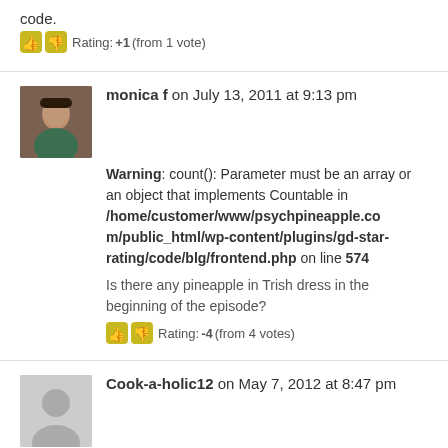code.
Rating: +1 (from 1 vote)
monica f on July 13, 2011 at 9:13 pm
Warning: count(): Parameter must be an array or an object that implements Countable in /home/customer/www/psychpineapple.com/public_html/wp-content/plugins/gd-star-rating/code/blg/frontend.php on line 574
Is there any pineapple in Trish dress in the beginning of the episode?
Rating: -4 (from 4 votes)
Cook-a-holic12 on May 7, 2012 at 8:47 pm